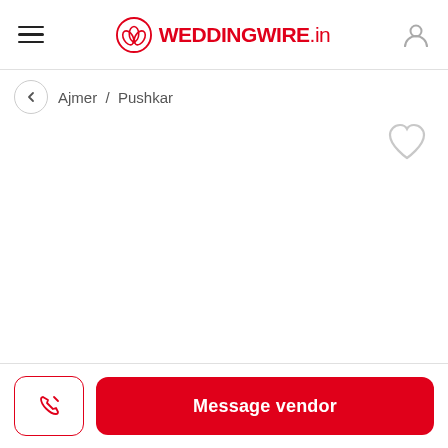WEDDINGWIRE.in
Ajmer / Pushkar
[Figure (illustration): Heart/favorite icon outline in light gray]
Message vendor